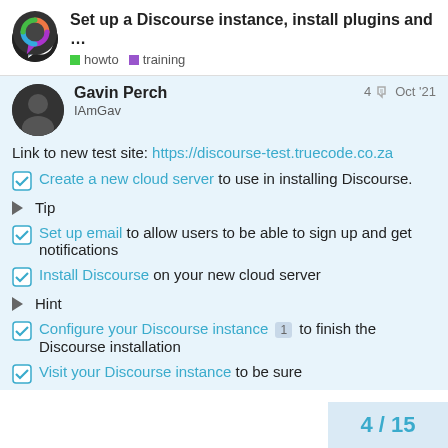Set up a Discourse instance, install plugins and ...
howto  training
Gavin Perch
IAmGav
4  Oct '21
Link to new test site: https://discourse-test.truecode.co.za
Create a new cloud server to use in installing Discourse.
▶ Tip
Set up email to allow users to be able to sign up and get notifications
Install Discourse on your new cloud server
▶ Hint
Configure your Discourse instance 1 to finish the Discourse installation
Visit your Discourse instance to be sure
4 / 15